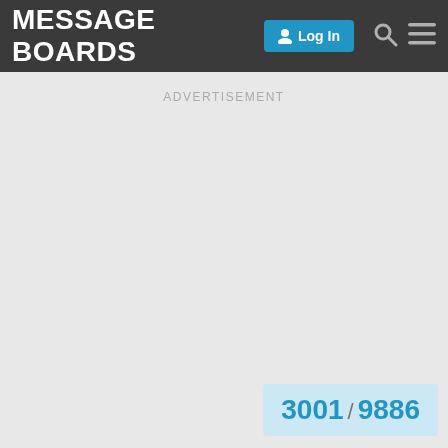MESSAGE BOARDS Log In
ADVERTISEMENT
3001 / 9886